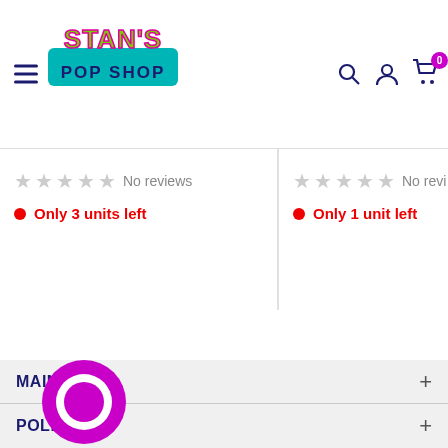[Figure (logo): Stan's Pop Shop logo — green graffiti-style text on a teal banner]
No reviews
Only 3 units left
No reviews
Only 1 unit left
MAIN MENU
POLICIES
CONTACT US
[Figure (illustration): Purple chat/message bubble icon overlay in bottom-left corner]